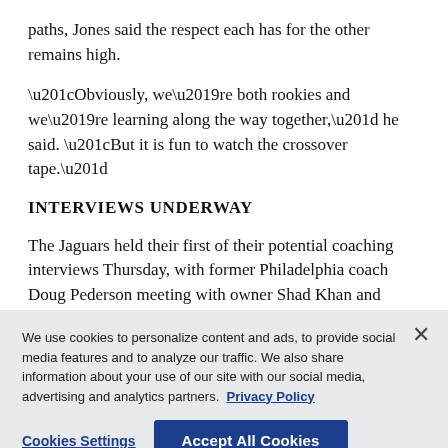paths, Jones said the respect each has for the other remains high.
“Obviously, we’re both rookies and we’re learning along the way together,” he said. “But it is fun to watch the crossover tape.”
INTERVIEWS UNDERWAY
The Jaguars held their first of their potential coaching interviews Thursday, with former Philadelphia coach Doug Pederson meeting with owner Shad Khan and
Jacksonville requested permission to interview both Dallas coordinators, Byron Leftwich and both Tampa Bay coordinators, Byron Leftwich and
We use cookies to personalize content and ads, to provide social media features and to analyze our traffic. We also share information about your use of our site with our social media, advertising and analytics partners. Privacy Policy
Cookies Settings
Accept All Cookies